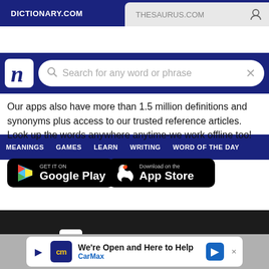[Figure (screenshot): Browser tab bar showing DICTIONARY.COM active tab and THESAURUS.COM inactive tab with user icon]
[Figure (screenshot): Dictionary.com search bar with logo and search field placeholder 'Search for any word or phrase']
[Figure (screenshot): Navigation bar with items: MEANINGS, GAMES, LEARN, WRITING, WORD OF THE DAY]
Our apps also have more than 1.5 million definitions and synonyms plus access to our trusted reference articles. Look up the words anywhere anytime-we work offline too!
[Figure (screenshot): Google Play store download button]
[Figure (screenshot): Apple App Store download button]
[Figure (logo): Dictionary.com logo in white on dark background]
[Figure (logo): Thesaurus.com logo in white on dark background]
[Figure (screenshot): CarMax advertisement banner: We're Open and Here to Help, CarMax]